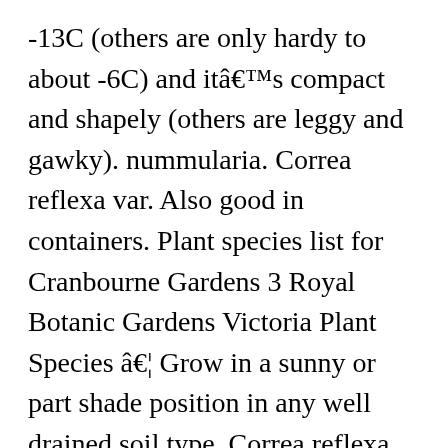-13C (others are only hardy to about -6C) and itâ s compact and shapely (others are leggy and gawky). nummularia. Correa reflexa var. Also good in containers. Plant species list for Cranbourne Gardens 3 Royal Botanic Gardens Victoria Plant Species â ¦ Grow in a sunny or part shade position in any well drained soil type. Correa reflexa var. £10.50. This is particularly disappointing as the form commonly grown in A very hardy native Correa reflexa Redex is a beautiful, bird attracting small shrub with red and yellow flowers which a.. Correa reflexa â  Wilsons Prom. Likes a sunny spot, but will also grow in part shade, though flowering will be lessened. Wishlist. speciosa compact. nummularifolia Correa